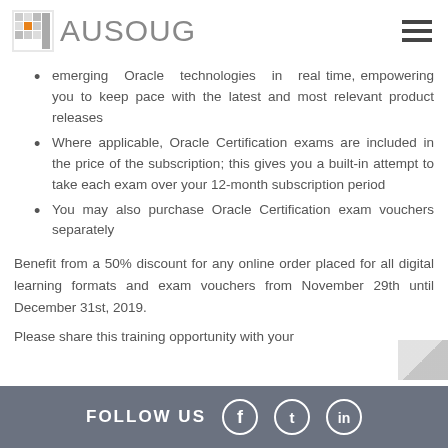AUSOUG
emerging Oracle technologies in real time, empowering you to keep pace with the latest and most relevant product releases
Where applicable, Oracle Certification exams are included in the price of the subscription; this gives you a built-in attempt to take each exam over your 12-month subscription period
You may also purchase Oracle Certification exam vouchers separately
Benefit from a 50% discount for any online order placed for all digital learning formats and exam vouchers from November 29th until December 31st, 2019.
Please share this training opportunity with your
FOLLOW US